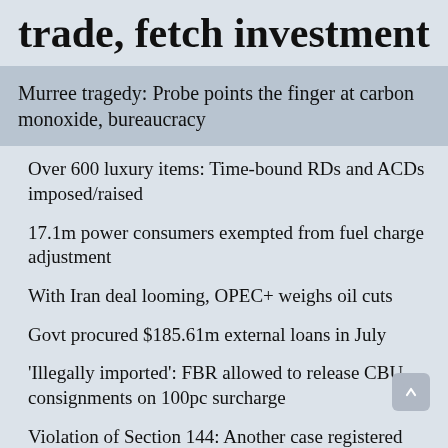trade, fetch investment
Murree tragedy: Probe points the finger at carbon monoxide, bureaucracy
Over 600 luxury items: Time-bound RDs and ACDs imposed/raised
17.1m power consumers exempted from fuel charge adjustment
With Iran deal looming, OPEC+ weighs oil cuts
Govt procured $185.61m external loans in July
'Illegally imported': FBR allowed to release CBU consignments on 100pc surcharge
Violation of Section 144: Another case registered